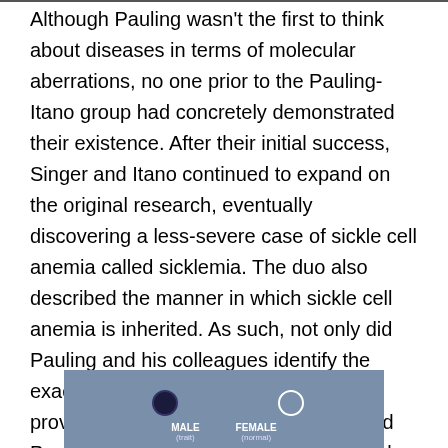Although Pauling wasn't the first to think about diseases in terms of molecular aberrations, no one prior to the Pauling-Itano group had concretely demonstrated their existence. After their initial success, Singer and Itano continued to expand on the original research, eventually discovering a less-severe case of sickle cell anemia called sicklemia. The duo also described the manner in which sickle cell anemia is inherited. As such, not only did Pauling and his colleagues identify the exact source of the disease, they also provided a link to genetics and confirmed Pauling's view that analysis on a molecular level can provide valuable information. Later, Itano would discover more abnormal hemoglobin molecules, and the molecular analysis of diseases would continue.
[Figure (photo): A scientific image (likely a gel electrophoresis or diagram) with labels showing MALE (trait) and FEMALE (normal) with circular markers on a blue-gray background.]